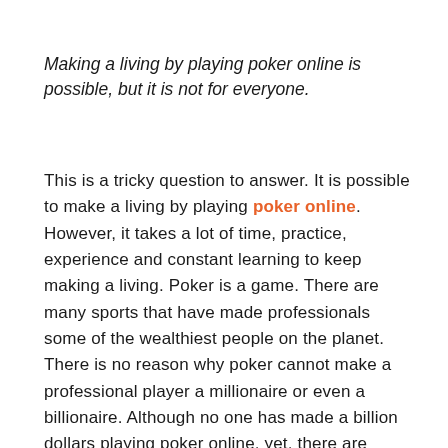Making a living by playing poker online is possible, but it is not for everyone.
This is a tricky question to answer. It is possible to make a living by playing poker online. However, it takes a lot of time, practice, experience and constant learning to keep making a living. Poker is a game. There are many sports that have made professionals some of the wealthiest people on the planet. There is no reason why poker cannot make a professional player a millionaire or even a billionaire. Although no one has made a billion dollars playing poker online, yet, there are many millionaires. Most of these millionaires started with traditional poker, which is the real live version. Many of them have